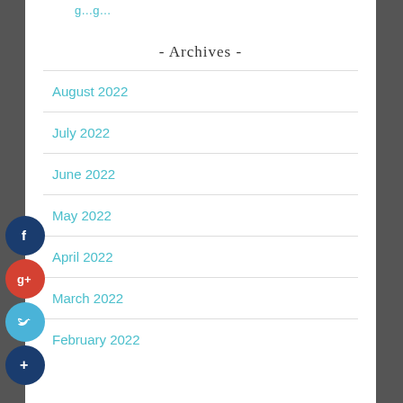Archives
August 2022
July 2022
June 2022
May 2022
April 2022
March 2022
February 2022